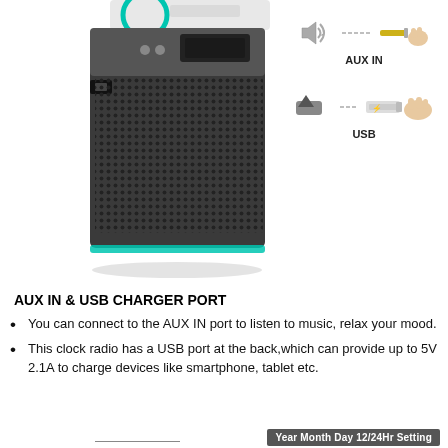[Figure (photo): A Bluetooth clock radio speaker with gray body, teal/cyan LED accent lighting at the bottom edge, USB port on the side, and a mesh grille. On the right side: AUX IN icon (speaker and music note with a 3.5mm plug being inserted by hand) labeled 'AUX IN', and below it a USB icon with a USB cable being inserted labeled 'USB'.]
AUX IN & USB CHARGER PORT
You can connect to the AUX IN port to listen to music, relax your mood.
This clock radio has a USB port at the back,which can provide up to 5V 2.1A to charge devices like smartphone, tablet etc.
Year Month Day 12/24Hr Setting